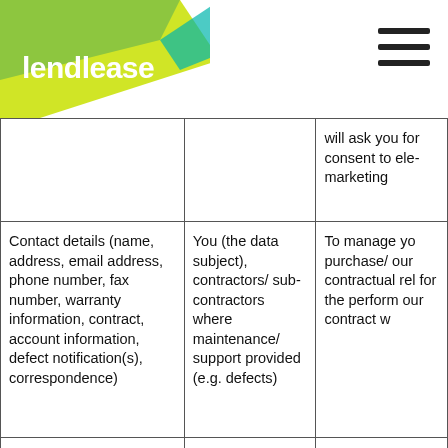lendlease
|  |  | will ask you for consent to ele- marketing |
| Contact details (name, address, email address, phone number, fax number, warranty information, contract, account information, defect notification(s), correspondence) | You (the data subject), contractors/ sub-contractors where maintenance/ support provided (e.g. defects) | To manage yo purchase/ our contractual rel for the perform our contract w |
| Call recording | Our phone system | For training an |